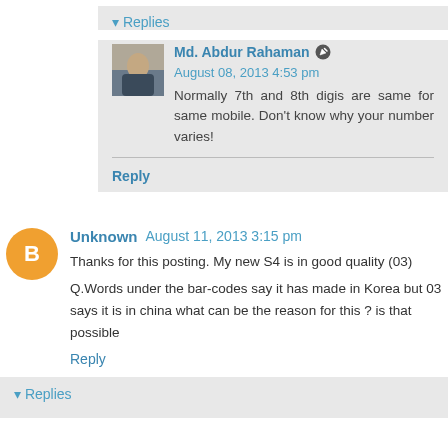▼ Replies
Md. Abdur Rahaman  August 08, 2013 4:53 pm
Normally 7th and 8th digis are same for same mobile. Don't know why your number varies!
Reply
Unknown  August 11, 2013 3:15 pm
Thanks for this posting. My new S4 is in good quality (03)
Q.Words under the bar-codes say it has made in Korea but 03 says it is in china what can be the reason for this ? is that possible
Reply
▼ Replies